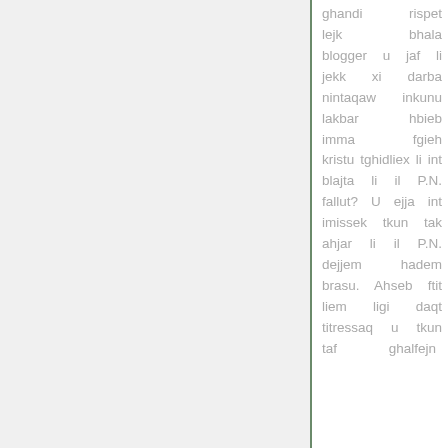ghandi rispet lejk bhala blogger u jaf li jekk xi darba nintaqaw inkunu lakbar hbieb imma fgieh kristu tghidliex li int blajta li il P.N. fallut? U ejja int imissek tkun tak ahjar li il P.N. dejjem hadem brasu. Ahseb ftit liem ligi daqt titressaq u tkun taf ghalfejn